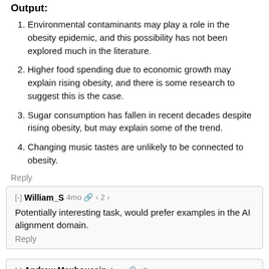Output:
Environmental contaminants may play a role in the obesity epidemic, and this possibility has not been explored much in the literature.
Higher food spending due to economic growth may explain rising obesity, and there is some research to suggest this is the case.
Sugar consumption has fallen in recent decades despite rising obesity, but may explain some of the trend.
Changing music tastes are unlikely to be connected to obesity.
Reply
[-] William_S 4mo 🔗 < 2 > Potentially interesting task, would prefer examples in the AI alignment domain. Reply
[-] Andrew Mauboussin 4mo 🔗 < 3 >